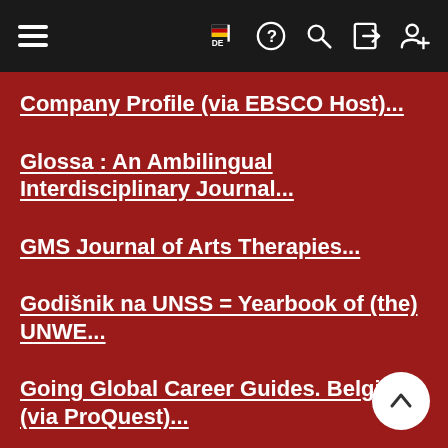Navigation bar with hamburger menu, flag/DE, help, search, login, and user add icons
Company Profile (via EBSCO Host)...
Glossa : An Ambilingual Interdisciplinary Journal...
GMS Journal of Arts Therapies...
Godišnik na UNSS = Yearbook of (the) UNWE...
Going Global Career Guides. Belgium (via ProQuest)...